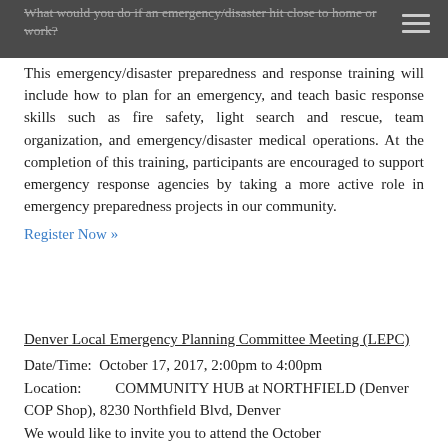What would you do if an emergency/disaster hit close to home or work?
This emergency/disaster preparedness and response training will include how to plan for an emergency, and teach basic response skills such as fire safety, light search and rescue, team organization, and emergency/disaster medical operations. At the completion of this training, participants are encouraged to support emergency response agencies by taking a more active role in emergency preparedness projects in our community. Register Now »
Denver Local Emergency Planning Committee Meeting (LEPC)
Date/Time: October 17, 2017, 2:00pm to 4:00pm
Location: COMMUNITY HUB at NORTHFIELD (Denver COP Shop), 8230 Northfield Blvd, Denver
We would like to invite you to attend the October